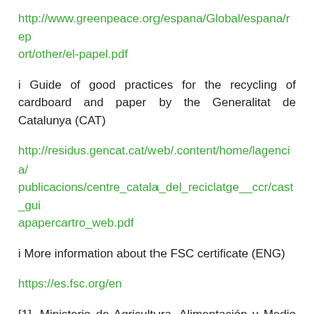http://www.greenpeace.org/espana/Global/espana/report/other/el-papel.pdf
i Guide of good practices for the recycling of cardboard and paper by the Generalitat de Catalunya (CAT)
http://residus.gencat.cat/web/.content/home/lagencia/publicacions/centre_catala_del_reciclatge__ccr/cast_guiapapercartro_web.pdf
i More information about the FSC certificate (ENG)
https://es.fsc.org/en
[1]. Ministerio de Agricultura, Alimentación y Medio Ambiente